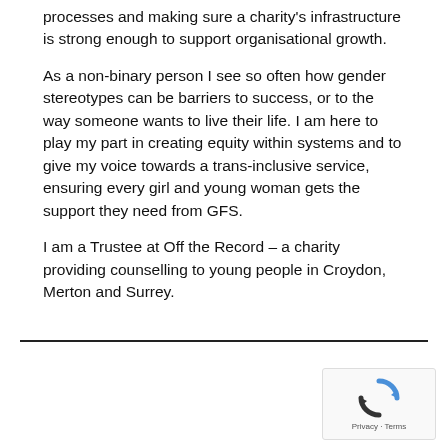processes and making sure a charity's infrastructure is strong enough to support organisational growth.
As a non-binary person I see so often how gender stereotypes can be barriers to success, or to the way someone wants to live their life. I am here to play my part in creating equity within systems and to give my voice towards a trans-inclusive service, ensuring every girl and young woman gets the support they need from GFS.
I am a Trustee at Off the Record – a charity providing counselling to young people in Croydon, Merton and Surrey.
[Figure (other): reCAPTCHA widget with rotating arrows icon and Privacy/Terms text]